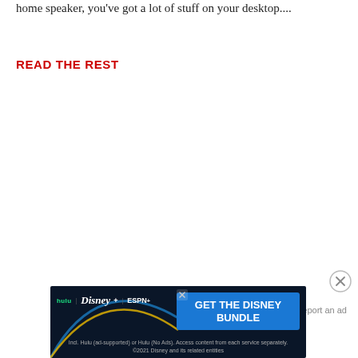home speaker, you've got a lot of stuff on your desktop....
READ THE REST
[Figure (screenshot): Advertisement banner for Disney Bundle featuring Hulu, Disney+, and ESPN+ logos with 'GET THE DISNEY BUNDLE' call-to-action on dark background with decorative arcs]
Report an ad